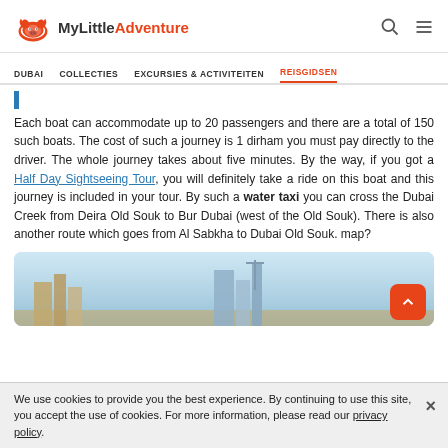MyLittleAdventure — DUBAI | COLLECTIES | EXCURSIES & ACTIVITEITEN | REISGIDSEN
Each boat can accommodate up to 20 passengers and there are a total of 150 such boats. The cost of such a journey is 1 dirham you must pay directly to the driver. The whole journey takes about five minutes. By the way, if you got a Half Day Sightseeing Tour, you will definitely take a ride on this boat and this journey is included in your tour. By such a water taxi you can cross the Dubai Creek from Deira Old Souk to Bur Dubai (west of the Old Souk). There is also another route which goes from Al Sabkha to Dubai Old Souk. map?
[Figure (photo): Photo of Dubai skyline with buildings and sky, partially visible]
We use cookies to provide you the best experience. By continuing to use this site, you accept the use of cookies. For more information, please read our privacy policy.